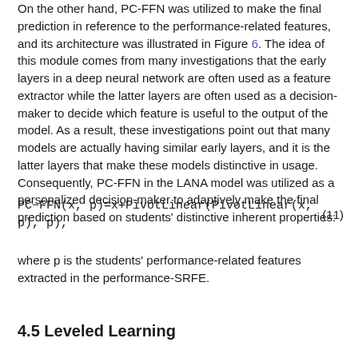On the other hand, PC-FFN was utilized to make the final prediction in reference to the performance-related features, and its architecture was illustrated in Figure 6. The idea of this module comes from many investigations that the early layers in a deep neural network are often used as a feature extractor while the latter layers are often used as a decision-maker to decide which feature is useful to the output of the model. As a result, these investigations point out that many models are actually having similar early layers, and it is the latter layers that make these models distinctive in usage. Consequently, PC-FFN in the LANA model was utilized as a personalized decision-maker to adaptively make the final prediction based on students' distinctive inherent properties:
where p is the students' performance-related features extracted in the performance-SRFE.
4.5 Leveled Learning